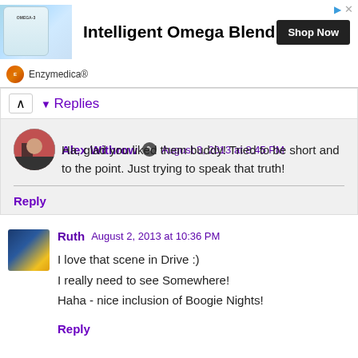[Figure (other): Advertisement banner for Enzymedica Intelligent Omega Blend supplement with product photo, Shop Now button, and brand logo]
Replies
Alex Withrow  August 3, 2013 at 8:45 PM
Ha, glad you liked them buddy! Tried to be short and to the point. Just trying to speak that truth!
Reply
Ruth  August 2, 2013 at 10:36 PM
I love that scene in Drive :)
I really need to see Somewhere!
Haha - nice inclusion of Boogie Nights!
Reply